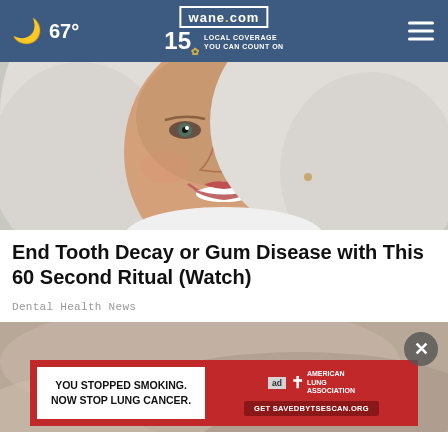67° wane.com 15 LOCAL COVERAGE YOU CAN COUNT ON
[Figure (photo): Close-up photo of a middle-aged woman with white/silver hair, smiling, with bright teeth visible.]
End Tooth Decay or Gum Disease with This 60 Second Ritual (Watch)
Dental Health News
[Figure (photo): Partially visible second photo (close-up of a person) with an overlaid ad banner reading: YOU STOPPED SMOKING. NOW STOP LUNG CANCER. American Lung Association. Get SAVEDBYTSESCAN.ORG]
YOU STOPPED SMOKING. NOW STOP LUNG CANCER. Get SAVEDBYTSESCAN.ORG